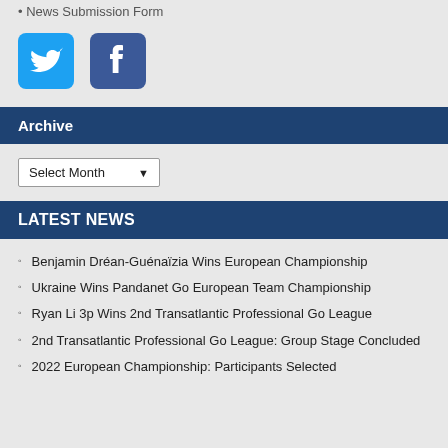News Submission Form
[Figure (logo): Twitter bird logo on blue rounded square background]
[Figure (logo): Facebook f logo on dark blue rounded square background]
Archive
Select Month
LATEST NEWS
Benjamin Dréan-Guénaïzia Wins European Championship
Ukraine Wins Pandanet Go European Team Championship
Ryan Li 3p Wins 2nd Transatlantic Professional Go League
2nd Transatlantic Professional Go League: Group Stage Concluded
2022 European Championship: Participants Selected